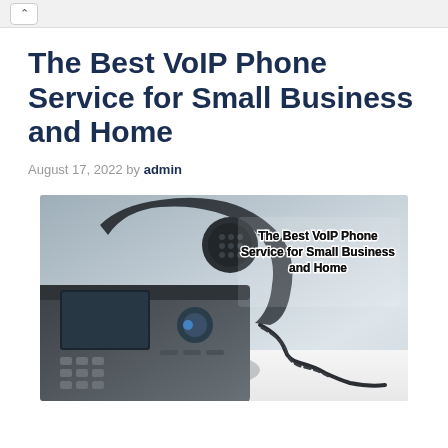The Best VoIP Phone Service for Small Business and Home
August 17, 2022 by admin
[Figure (photo): A VoIP desk phone (Cisco-style IP phone) with curly handset cord on a white surface, with a light blue-grey background. Text overlay reads: The Best VoIP Phone Service for Small Business and Home]